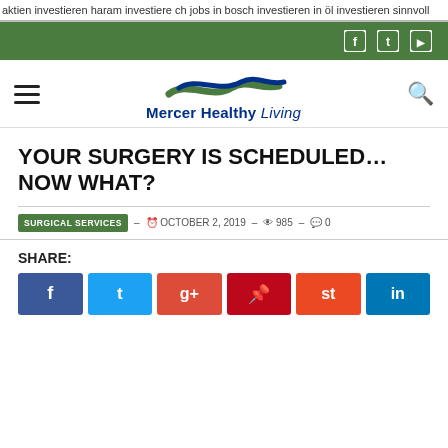aktien investieren haram investiere ch jobs in bosch investieren in öl investieren sinnvoll
[Figure (screenshot): Green navigation bar with Facebook, Twitter, and YouTube social media icons on the right]
[Figure (logo): Mercer Healthy Living logo with wave shapes in blue and green above the text]
YOUR SURGERY IS SCHEDULED… NOW WHAT?
SURGICAL SERVICES – OCTOBER 2, 2019 – 985 – 0
SHARE:
[Figure (infographic): Six social media share buttons: Facebook (blue), Twitter (light blue), Google+ (orange-red), Pinterest (red), StumbleUpon (orange), LinkedIn (dark blue)]